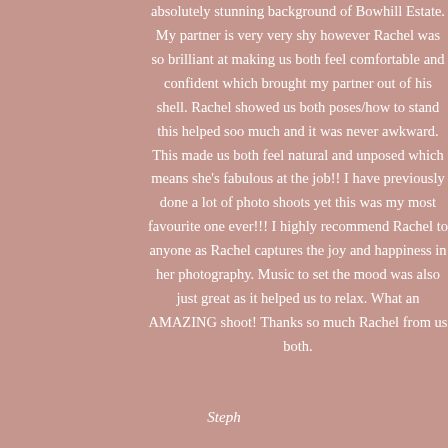absolutely stunning background of Bowhill Estate. My partner is very very shy however Rachel was so brilliant at making us both feel comfortable and confident which brought my partner out of his shell. Rachel showed us both poses/how to stand this helped soo much and it was never awkward. This made us both feel natural and unposed which means she's fabulous at the job!! I have previously done a lot of photo shoots yet this was my most favourite one ever!!! I highly recommend Rachel to anyone as Rachel captures the joy and happiness in her photography. Music to set the mood was also just great as it helped us to relax. What an AMAZING shoot! Thanks so much Rachel from us both.
Steph